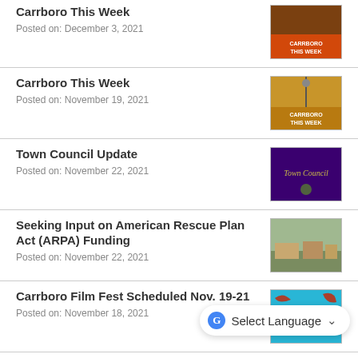Carrboro This Week
Posted on: December 3, 2021
[Figure (photo): Carrboro This Week thumbnail - brick building with orange banner]
Carrboro This Week
Posted on: November 19, 2021
[Figure (photo): Carrboro This Week thumbnail - autumn scene with lamp post]
Town Council Update
Posted on: November 22, 2021
[Figure (photo): Town Council banner - purple background with gold text]
Seeking Input on American Rescue Plan Act (ARPA) Funding
Posted on: November 22, 2021
[Figure (photo): Street scene photo for ARPA funding article]
Carrboro Film Fest Scheduled Nov. 19-21
Posted on: November 18, 2021
[Figure (photo): Carrboro Film Fest poster - teal/blue background with red text]
Town of Carrboro Establishes
[Figure (photo): Photo for Town of Carrboro Establishes article]